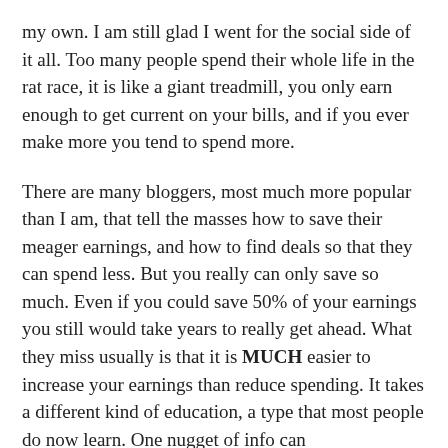my own. I am still glad I went for the social side of it all. Too many people spend their whole life in the rat race, it is like a giant treadmill, you only earn enough to get current on your bills, and if you ever make more you tend to spend more.
There are many bloggers, most much more popular than I am, that tell the masses how to save their meager earnings, and how to find deals so that they can spend less. But you really can only save so much. Even if you could save 50% of your earnings you still would take years to really get ahead. What they miss usually is that it is MUCH easier to increase your earnings than reduce spending. It takes a different kind of education, a type that most people do now learn. One nugget of info can change your life. It is much easier to live below your means if you increase you means. You do need to control costs, but spend
[Figure (other): Broken/missing image placeholder with small image icon in top-left corner]